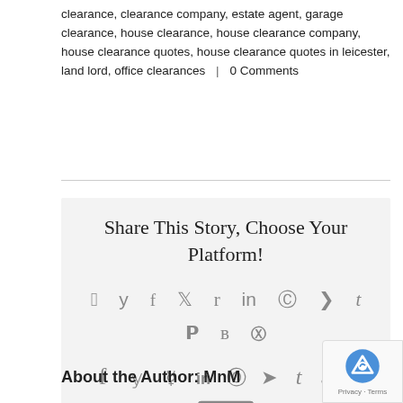clearance, clearance company, estate agent, garage clearance, house clearance, house clearance company, house clearance quotes, house clearance quotes in leicester, land lord, office clearances  |  0 Comments
Share This Story, Choose Your Platform!
[Figure (infographic): Social sharing icons: Facebook, Twitter, Reddit, LinkedIn, WhatsApp, Telegram, Tumblr, Pinterest, VK, Xing, Email]
About the Author: MnM